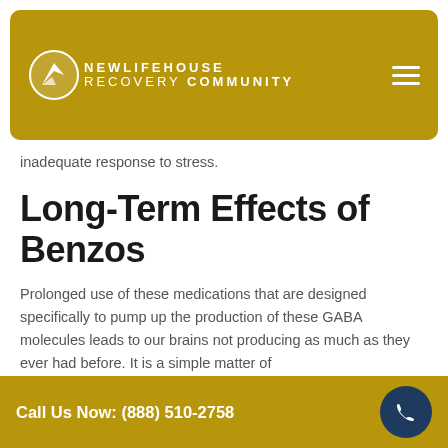[Figure (logo): New Life House Recovery Community logo with golden/yellow background and hamburger menu icon]
inadequate response to stress.
Long-Term Effects of Benzos
Prolonged use of these medications that are designed specifically to pump up the production of these GABA molecules leads to our brains not producing as much as they ever had before. It is a simple matter of
Call Us Now: (888) 510-2758